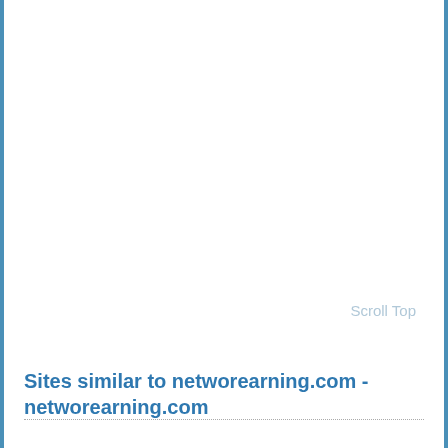Scroll Top
Sites similar to networearning.com - networearning.com